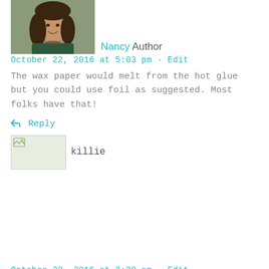[Figure (photo): Profile photo of Nancy, a woman with dark hair wearing a dark green shirt]
Nancy Author
October 22, 2016 at 5:03 pm · Edit
The wax paper would melt from the hot glue but you could use foil as suggested. Most folks have that!
↩ Reply
[Figure (photo): Small avatar placeholder image for killie]
killie
October 22, 2016 at 2:30 am · Edit
fabuslouly simple.
↩ Reply
[Figure (photo): Small avatar placeholder image for killie]
killie